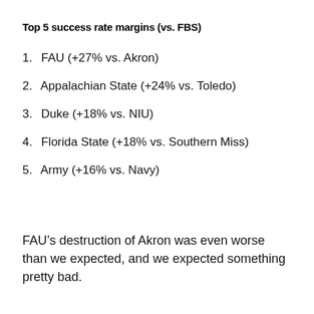Top 5 success rate margins (vs. FBS)
1. FAU (+27% vs. Akron)
2. Appalachian State (+24% vs. Toledo)
3. Duke (+18% vs. NIU)
4. Florida State (+18% vs. Southern Miss)
5. Army (+16% vs. Navy)
FAU’s destruction of Akron was even worse than we expected, and we expected something pretty bad.